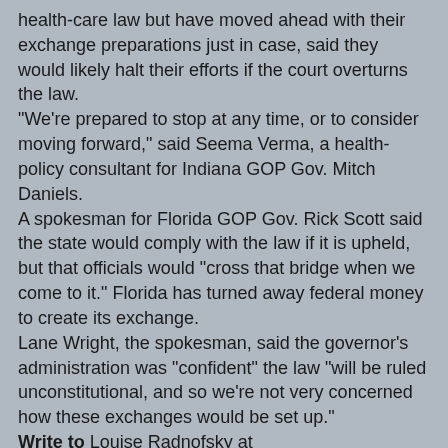health-care law but have moved ahead with their exchange preparations just in case, said they would likely halt their efforts if the court overturns the law. "We're prepared to stop at any time, or to consider moving forward," said Seema Verma, a health-policy consultant for Indiana GOP Gov. Mitch Daniels. A spokesman for Florida GOP Gov. Rick Scott said the state would comply with the law if it is upheld, but that officials would "cross that bridge when we come to it." Florida has turned away federal money to create its exchange. Lane Wright, the spokesman, said the governor's administration was "confident" the law "will be ruled unconstitutional, and so we're not very concerned how these exchanges would be set up." Write to Louise Radnofsky at louise.radnofsky@wsj.com
end quotes from:
 http://online.wsj.com/article/SB10001424052702304177104577314030983468536.html
So, the interesting thing about Obamacare is that much of it will remain and be implemented by many of the more